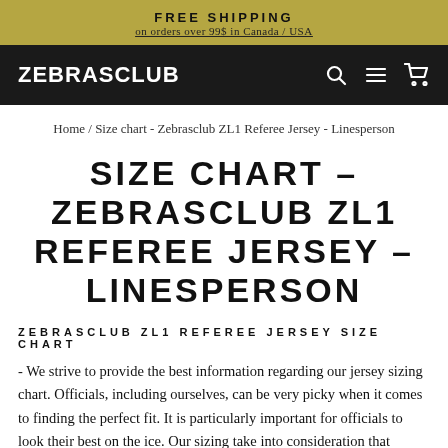FREE SHIPPING
on orders over 99$ in Canada / USA
ZEBRASCLUB
Home / Size chart - Zebrasclub ZL1 Referee Jersey - Linesperson
SIZE CHART – ZEBRASCLUB ZL1 REFEREE JERSEY – LINESPERSON
ZEBRASCLUB ZL1 REFEREE JERSEY SIZE CHART
- We strive to provide the best information regarding our jersey sizing chart. Officials, including ourselves, can be very picky when it comes to finding the perfect fit. It is particularly important for officials to look their best on the ice. Our sizing take into consideration that officials usually